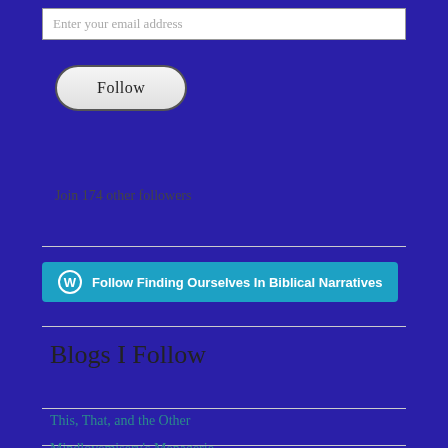Enter your email address
[Figure (other): Follow button - rounded pill-shaped button with gradient background]
Join 174 other followers
[Figure (other): WordPress Follow button - cyan/teal rounded rectangle with WordPress icon and text: Follow Finding Ourselves In Biblical Narratives]
Blogs I Follow
This, That, and the Other
Mindlovemisery's Menagerie